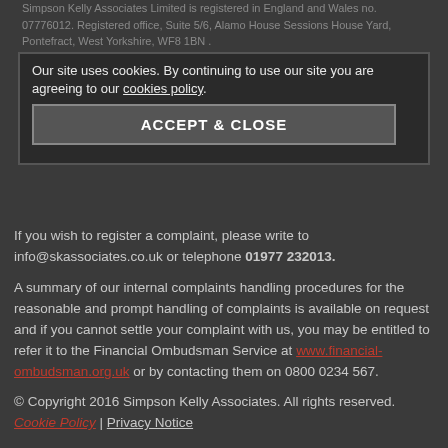Simpson Kelly Associates Limited is registered in England and Wales no. 07776012. Registered office, Suite 5/6, Alamo House Sessions House Yard, Pontefract, West Yorkshire, WF8 1BN . Authorised and regulated by the Financial Conduct Authority. Simpson Kelly Associates Limited is entered on the Financial Services Register under reference 599404.
Our site uses cookies. By continuing to use our site you are agreeing to our cookies policy.
ACCEPT & CLOSE
If you wish to register a complaint, please write to info@skassociates.co.uk or telephone 01977 232013.
A summary of our internal complaints handling procedures for the reasonable and prompt handling of complaints is available on request and if you cannot settle your complaint with us, you may be entitled to refer it to the Financial Ombudsman Service at www.financial-ombudsman.org.uk or by contacting them on 0800 0234 567.
© Copyright 2016 Simpson Kelly Associates. All rights reserved.
Cookie Policy | Privacy Notice